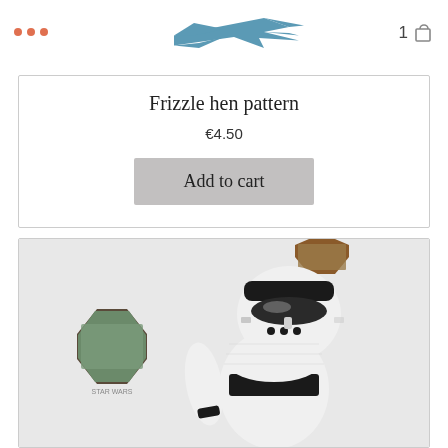... [logo] 1 [cart icon]
Frizzle hen pattern
€4.50
Add to cart
[Figure (photo): A crocheted Stormtrooper amigurumi toy lying on a light grey surface, with two Star Wars trading cards/tokens visible nearby. The toy has a white crocheted body with black accents mimicking a Stormtrooper helmet and armor.]